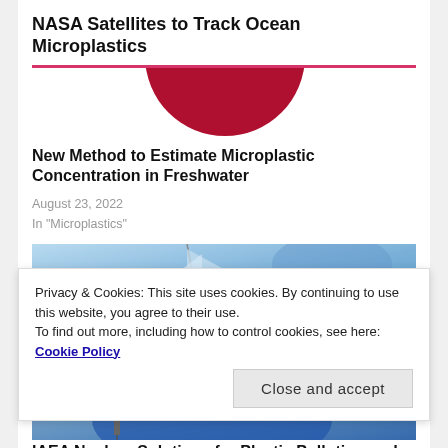NASA Satellites to Track Ocean Microplastics
[Figure (illustration): Partial red circle (logo or decorative graphic) visible below the title and pink horizontal rule]
New Method to Estimate Microplastic Concentration in Freshwater
August 23, 2022
In "Microplastics"
[Figure (photo): Blue-toned photo showing what appears to be a sailboat mast and sails against a pale blue background, partially obscured by cookie banner]
Privacy & Cookies: This site uses cookies. By continuing to use this website, you agree to their use.
To find out more, including how to control cookies, see here: Cookie Policy
Close and accept
IAEA Nuclear Solutions for Plastic Pollution and C02